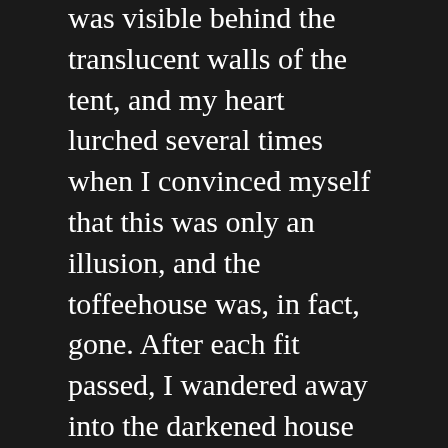was visible behind the translucent walls of the tent, and my heart lurched several times when I convinced myself that this was only an illusion, and the toffeehouse was, in fact, gone. After each fit passed, I wandered away into the darkened house and waited for my thumping, irritable heart to slow before the urge for stimulation drew me back to the window again.
On a quiet Saturday in May, I stopped by the window yet again only to find that my temporary absence had provided enough time for a car to pull up without my knowledge. Paris had parked her Toyota on the muddy curb, and now stood in front of Giles's project in apparent contemplation.
I stormed away into the depths of the house, half-enraged and half-terrified. What business did she think she had, showing up here? She was probably just there to gloat, to see her new best friend, my husband. Her best